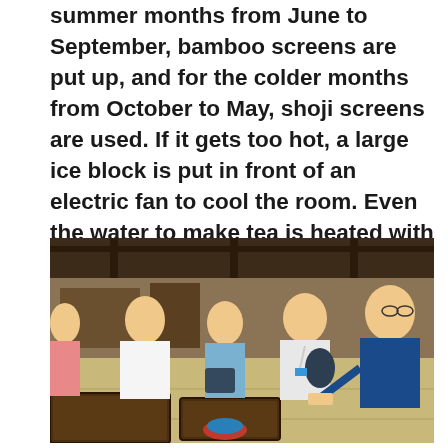summer months from June to September, bamboo screens are put up, and for the colder months from October to May, shoji screens are used. If it gets too hot, a large ice block is put in front of an electric fan to cool the room. Even the water to make tea is heated with charcoal and not gas or electricity.
[Figure (photo): A group of people sitting on tatami mats in a traditional Japanese building, watching a person demonstrate a tea ceremony with wooden trays and tea utensils in the foreground.]